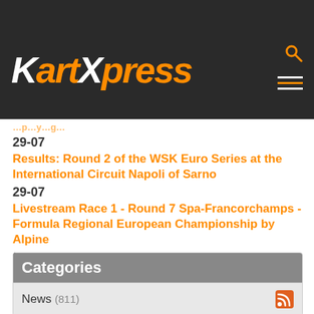KartXpress
29-07
Results: Round 2 of the WSK Euro Series at the International Circuit Napoli of Sarno
29-07
Livestream Race 1 - Round 7 Spa-Francorchamps - Formula Regional European Championship by Alpine
29-07
Livestream: HEAT 3 13:30 Rotax MAX Challenge International Trophy at Le Mans
Categories
News (811)